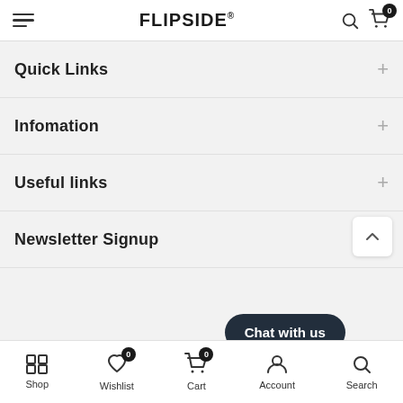FLIPSIDE® — navigation header with hamburger menu, search and cart icons
Quick Links
Infomation
Useful links
Newsletter Signup
Copyright © 2022 www.aof...
Shop | Wishlist 0 | Cart 0 | Account | Search